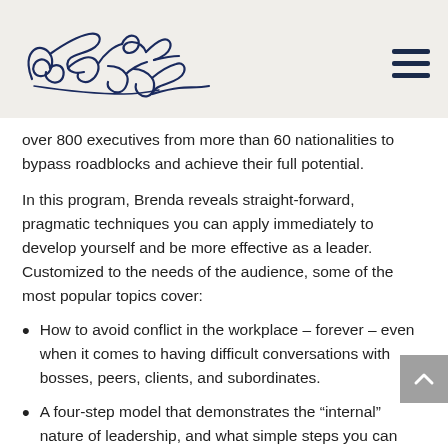Brenda Bence [logo/signature]
over 800 executives from more than 60 nationalities to bypass roadblocks and achieve their full potential.
In this program, Brenda reveals straight-forward, pragmatic techniques you can apply immediately to develop yourself and be more effective as a leader.  Customized to the needs of the audience, some of the most popular topics cover:
How to avoid conflict in the workplace – forever – even when it comes to having difficult conversations with bosses, peers, clients, and subordinates.
A four-step model that demonstrates the “internal” nature of leadership, and what simple steps you can embrace in order to take charge of the inner voice.
Get clear on the energy you are bringing to the workplace